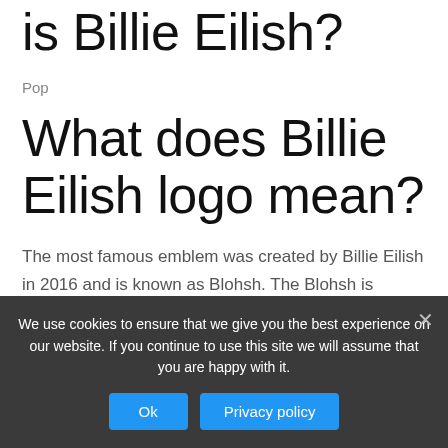is Billie Eilish?
Pop
What does Billie Eilish logo mean?
The most famous emblem was created by Billie Eilish in 2016 and is known as Blohsh. The Blohsh is usually drawn in yellow or acid-green colors, which represent the rebellious spirit of the singer and her strong energy…
We use cookies to ensure that we give you the best experience on our website. If you continue to use this site we will assume that you are happy with it.
Ok
Privacy policy